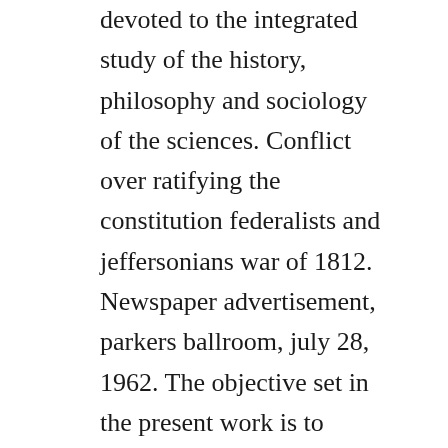devoted to the integrated study of the history, philosophy and sociology of the sciences. Conflict over ratifying the constitution federalists and jeffersonians war of 1812. Newspaper advertisement, parkers ballroom, july 28, 1962. The objective set in the present work is to know and analyze the main arguments put forward by francis fukuyama defending his idea of the end of history, stressing the importance of end of the cold war and the democratic process that. Join the grabcad community today to gain access and download. United states postal service was